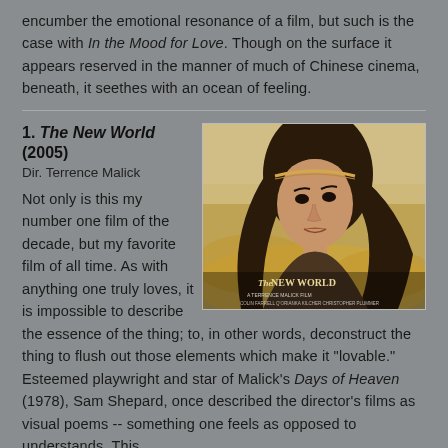encumber the emotional resonance of a film, but such is the case with In the Mood for Love. Though on the surface it appears reserved in the manner of much of Chinese cinema, beneath, it seethes with an ocean of feeling.
1. The New World (2005)
Dir. Terrence Malick
[Figure (photo): Movie still from The New World showing a young woman with long dark hair and a headband, in a field. The New World movie title text is visible at bottom of image.]
Not only is this my number one film of the decade, but my favorite film of all time. As with anything one truly loves, it is impossible to describe the essence of the thing; to, in other words, deconstruct the thing to flush out those elements which make it "lovable." Esteemed playwright and star of Malick's Days of Heaven (1978), Sam Shepard, once described the director's films as visual poems -- something one feels as opposed to understands. This